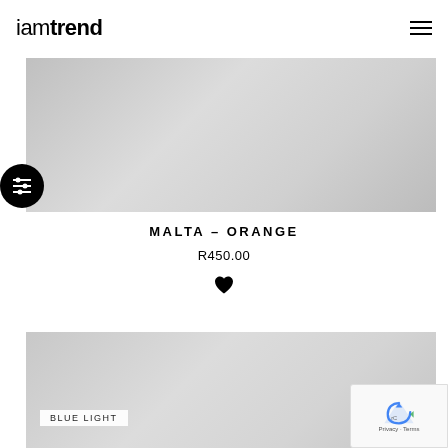iamtrend
[Figure (photo): Product image placeholder - grey gradient background, first product]
MALTA – ORANGE
R450.00
[Figure (illustration): Black heart/wishlist icon]
[Figure (photo): Product image placeholder - grey gradient background, second product with BLUE LIGHT label]
BLUE LIGHT